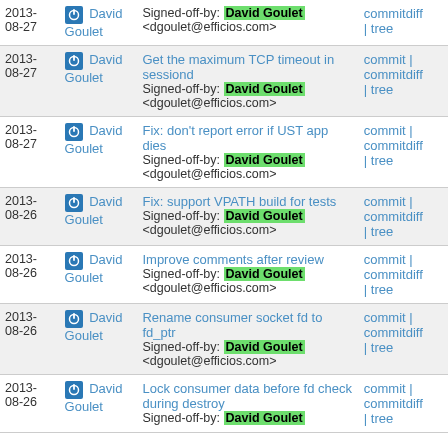| Date | Author | Commit message | Links |
| --- | --- | --- | --- |
| 2013-08-27 | David Goulet | Signed-off-by: David Goulet <dgoulet@efficios.com> | commitdiff | tree |
| 2013-08-27 | David Goulet | Get the maximum TCP timeout in sessiond
Signed-off-by: David Goulet <dgoulet@efficios.com> | commit | commitdiff | tree |
| 2013-08-27 | David Goulet | Fix: don't report error if UST app dies
Signed-off-by: David Goulet <dgoulet@efficios.com> | commit | commitdiff | tree |
| 2013-08-26 | David Goulet | Fix: support VPATH build for tests
Signed-off-by: David Goulet <dgoulet@efficios.com> | commit | commitdiff | tree |
| 2013-08-26 | David Goulet | Improve comments after review
Signed-off-by: David Goulet <dgoulet@efficios.com> | commit | commitdiff | tree |
| 2013-08-26 | David Goulet | Rename consumer socket fd to fd_ptr
Signed-off-by: David Goulet <dgoulet@efficios.com> | commit | commitdiff | tree |
| 2013-08-26 | David Goulet | Lock consumer data before fd check during destroy
Signed-off-by: David Goulet | tree |